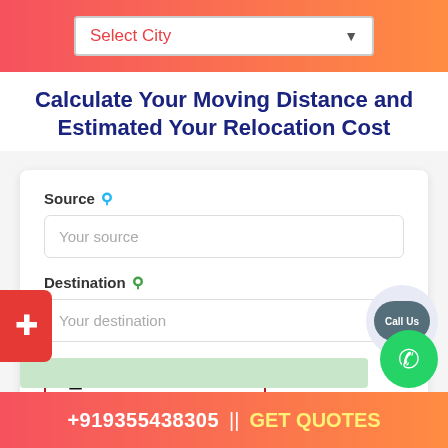Select City
Calculate Your Moving Distance and Estimated Your Relocation Cost
Source
Your source
Destination
Your destination
Distance Calculate
Call Us
+919355438305 || GET QUOTES